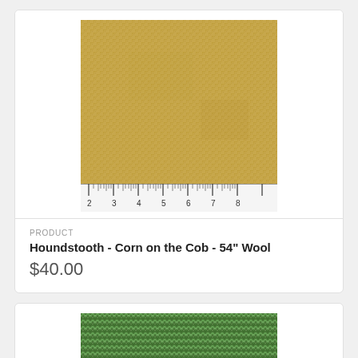[Figure (photo): Close-up photo of a tan/golden houndstooth wool fabric swatch with a ruler at the bottom showing measurements from approximately 2 to 8 inches]
PRODUCT
Houndstooth - Corn on the Cob - 54" Wool
$40.00
[Figure (photo): Close-up photo of a green herringbone wool fabric swatch, partially visible at the bottom of the page]